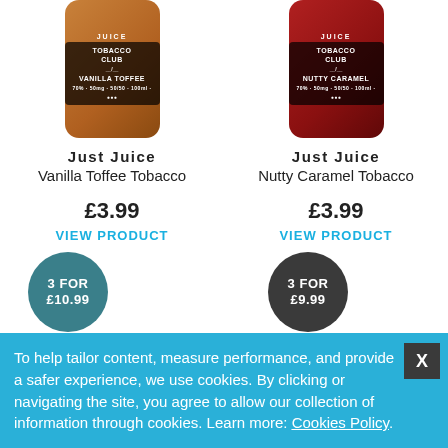[Figure (photo): Just Juice Vanilla Toffee Tobacco product bottle with brown label]
[Figure (photo): Just Juice Nutty Caramel Tobacco product bottle with red label]
Just Juice
Vanilla Toffee Tobacco
Just Juice
Nutty Caramel Tobacco
£3.99
£3.99
VIEW PRODUCT
VIEW PRODUCT
3 FOR £10.99
3 FOR £9.99
LOADING
LOADING
To help tailor content, measure performance, and provide a safer experience, we use cookies. By clicking or navigating the site, you agree to allow our collection of information through cookies. Learn more: Cookies Policy.